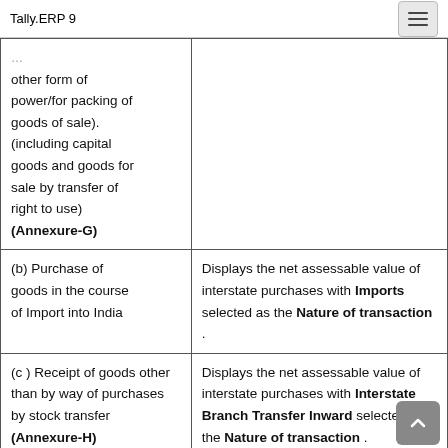Tally.ERP 9
| Item | Description |
| --- | --- |
| other form of power/for packing of goods of sale). (including capital goods and goods for sale by transfer of right to use) (Annexure-G) |  |
| (b) Purchase of goods in the course of Import into India | Displays the net assessable value of interstate purchases with Imports selected as the Nature of transaction . |
| (c ) Receipt of goods other than by way of purchases by stock transfer (Annexure-H) | Displays the net assessable value of interstate purchases with Interstate Branch Transfer Inward selected as the Nature of transaction . |